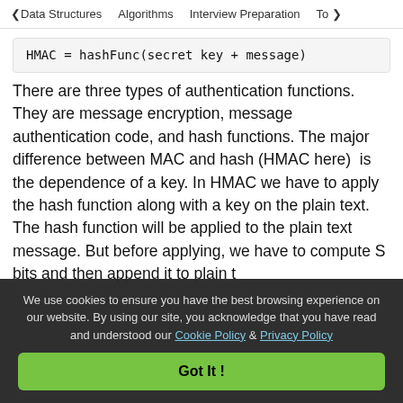< Data Structures   Algorithms   Interview Preparation   To>
There are three types of authentication functions. They are message encryption, message authentication code, and hash functions. The major difference between MAC and hash (HMAC here) is the dependence of a key. In HMAC we have to apply the hash function along with a key on the plain text. The hash function will be applied to the plain text message. But before applying, we have to compute S bits and then append it to plain t...
We use cookies to ensure you have the best browsing experience on our website. By using our site, you acknowledge that you have read and understood our Cookie Policy & Privacy Policy
Got It !